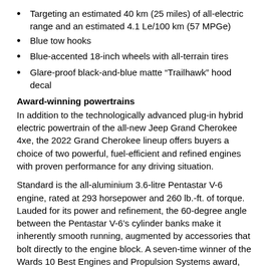Targeting an estimated 40 km (25 miles) of all-electric range and an estimated 4.1 Le/100 km (57 MPGe)
Blue tow hooks
Blue-accented 18-inch wheels with all-terrain tires
Glare-proof black-and-blue matte “Trailhawk” hood decal
Award-winning powertrains
In addition to the technologically advanced plug-in hybrid electric powertrain of the all-new Jeep Grand Cherokee 4xe, the 2022 Grand Cherokee lineup offers buyers a choice of two powerful, fuel-efficient and refined engines with proven performance for any driving situation.
Standard is the all-aluminium 3.6-litre Pentastar V-6 engine, rated at 293 horsepower and 260 lb.-ft. of torque. Lauded for its power and refinement, the 60-degree angle between the Pentastar V-6’s cylinder banks make it inherently smooth running, augmented by accessories that bolt directly to the engine block. A seven-time winner of the Wards 10 Best Engines and Propulsion Systems award, the Pentastar V-6 engine is compact, with features such as exhaust manifolds integrated into the cylinder heads.
Chain-driven dual overhead camshafts include two-step variable valve